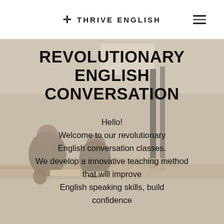✛ THRIVE ENGLISH
[Figure (photo): Classroom photo used as hero background image showing students at desks with muted/warm beige tones]
REVOLUTIONARY ENGLISH CONVERSATION
Hello! Welcome to our revolutionary English conversation classes. We develop a innovative teaching method that will improve English speaking skills, build confidence